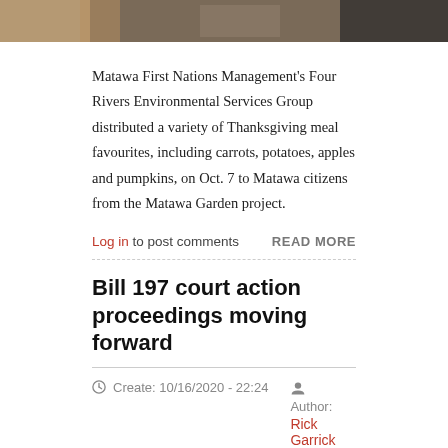[Figure (photo): Partial photo strip at top showing people and objects, cropped]
Matawa First Nations Management’s Four Rivers Environmental Services Group distributed a variety of Thanksgiving meal favourites, including carrots, potatoes, apples and pumpkins, on Oct. 7 to Matawa citizens from the Matawa Garden project.
Log in to post comments   READ MORE
Bill 197 court action proceedings moving forward
Create: 10/16/2020 - 22:24   Author: Rick Garrick